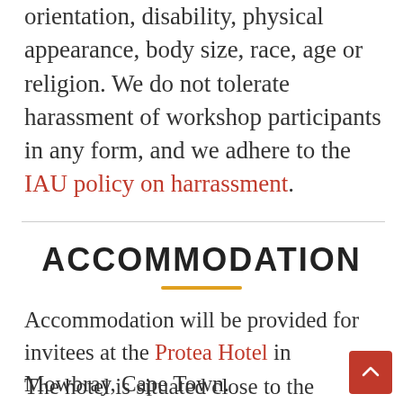orientation, disability, physical appearance, body size, race, age or religion. We do not tolerate harassment of workshop participants in any form, and we adhere to the IAU policy on harrassment.
ACCOMMODATION
Accommodation will be provided for invitees at the Protea Hotel in Mowbray, Cape Town.
The hotel is situated close to the conference